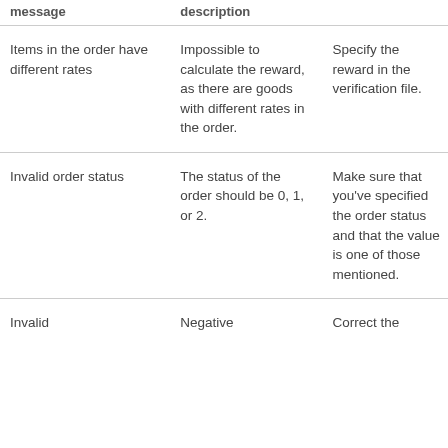| message | description |  |
| --- | --- | --- |
| Items in the order have different rates | Impossible to calculate the reward, as there are goods with different rates in the order. | Specify the reward in the verification file. |
| Invalid order status | The status of the order should be 0, 1, or 2. | Make sure that you've specified the order status and that the value is one of those mentioned. |
| Invalid | Negative | Correct the |